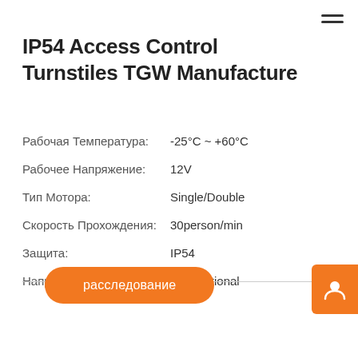IP54 Access Control Turnstiles TGW Manufacture
Рабочая Температура: -25°C ~ +60°C
Рабочее Напряжение: 12V
Тип Мотора: Single/Double
Скорость Прохождения: 30person/min
Защита: IP54
Направление: Bi-directional
расследование